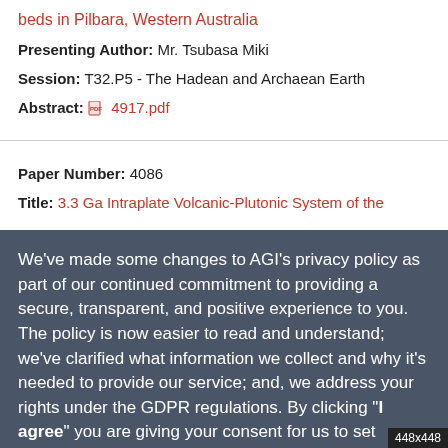beds in Pilbara, Western Australia
Presenting Author: Mr. Tsubasa Miki
Session: T32.P5 - The Hadean and Archaean Earth
Abstract: 4917.pdf
Paper Number: 4086
Title: 3.3 Ga Intraplate Volcanic-Plutonic System of the
We've made some changes to AGI's privacy policy as part of our continued commitment to providing a secure, transparent, and positive experience to you. The policy is now easier to read and understand; we've clarified what information we collect and why it's needed to provide our service; and, we address your rights under the GDPR regulations. By clicking "I agree" you are giving your consent for us to set cookies. Give me more information
I agree | Opt out